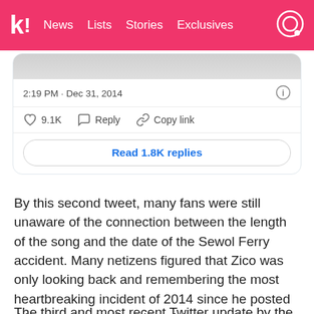k! News  Lists  Stories  Exclusives
[Figure (screenshot): Partial tweet screenshot showing timestamp '2:19 PM · Dec 31, 2014', like count '9.1K', Reply, Copy link actions, and 'Read 1.8K replies' button]
By this second tweet, many fans were still unaware of the connection between the length of the song and the date of the Sewol Ferry accident. Many netizens figured that Zico was only looking back and remembering the most heartbreaking incident of 2014 since he posted this tweet on the last day of the year.
The third and most recent Twitter update by the